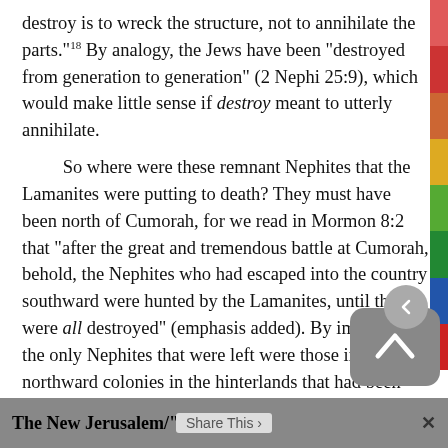destroy is to wreck the structure, not to annihilate the parts." 18 By analogy, the Jews have been "destroyed from generation to generation" (2 Nephi 25:9), which would make little sense if destroy meant to utterly annihilate.
So where were these remnant Nephites that the Lamanites were putting to death? They must have been north of Cumorah, for we read in Mormon 8:2 that "after the great and tremendous battle at Cumorah, behold, the Nephites who had escaped into the country southward were hunted by the Lamanites, until they were all destroyed" (emphasis added). By implication, the only Nephites that were left were those in the northward colonies in the hinterlands that had been established by migrants several centuries prior.
The New Jerusalem/"This Land"